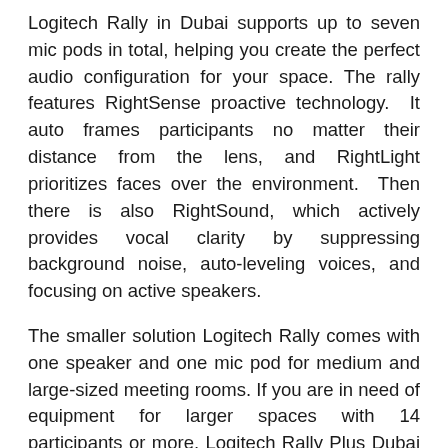Logitech Rally in Dubai supports up to seven mic pods in total, helping you create the perfect audio configuration for your space. The rally features RightSense proactive technology. It auto frames participants no matter their distance from the lens, and RightLight prioritizes faces over the environment. Then there is also RightSound, which actively provides vocal clarity by suppressing background noise, auto-leveling voices, and focusing on active speakers.
The smaller solution Logitech Rally comes with one speaker and one mic pod for medium and large-sized meeting rooms. If you are in need of equipment for larger spaces with 14 participants or more, Logitech Rally Plus Dubai offers two mic pods and two speakers for greater versatility right at the get-go. Both packages also include Rally Display Hub, Rally Table Hub, and Remote Control